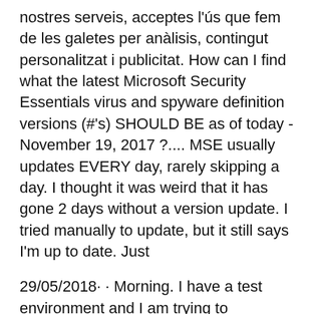nostres serveis, acceptes l'ús que fem de les galetes per anàlisis, contingut personalitzat i publicitat. How can I find what the latest Microsoft Security Essentials virus and spyware definition versions (#'s) SHOULD BE as of today - November 19, 2017 ?.... MSE usually updates EVERY day, rarely skipping a day. I thought it was weird that it has gone 2 days without a version update. I tried manually to update, but it still says I'm up to date. Just
29/05/2018· · Morning. I have a test environment and I am trying to configure it to have run endpoint protection on my machines. I have installed the endpoint protection role, configured the software update point, configured the anti malware policy, configured